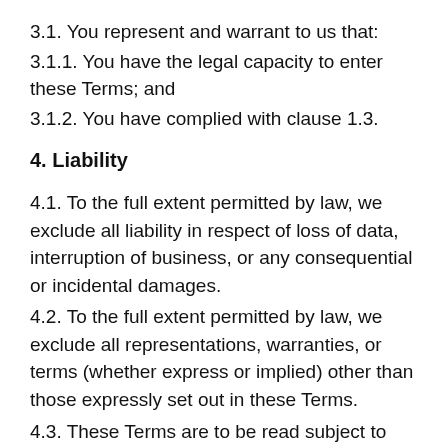3.1. You represent and warrant to us that:
3.1.1. You have the legal capacity to enter these Terms; and
3.1.2. You have complied with clause 1.3.
4. Liability
4.1. To the full extent permitted by law, we exclude all liability in respect of loss of data, interruption of business, or any consequential or incidental damages.
4.2. To the full extent permitted by law, we exclude all representations, warranties, or terms (whether express or implied) other than those expressly set out in these Terms.
4.3. These Terms are to be read subject to any legislation, which prohibits or restricts the exclusion,